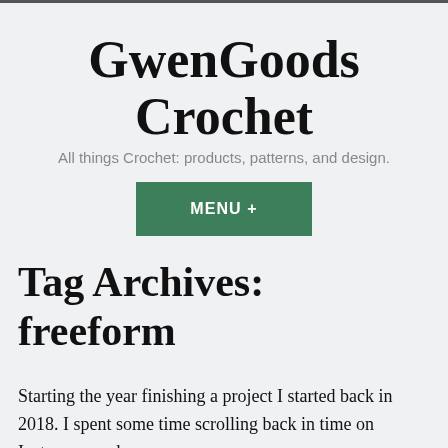GwenGoods Crochet
All things Crochet: products, patterns, and design.
[Figure (other): Green MENU + button]
Tag Archives: freeform
Starting the year finishing a project I started back in 2018. I spent some time scrolling back in time on Instagram and